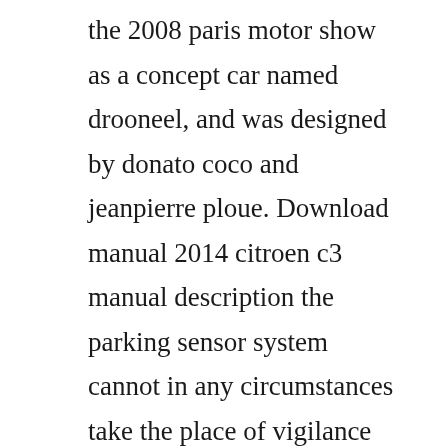the 2008 paris motor show as a concept car named drooneel, and was designed by donato coco and jeanpierre ploue. Download manual 2014 citroen c3 manual description the parking sensor system cannot in any circumstances take the place of vigilance on. What is the difference between kia picanto vr7 2014 and citroen c3 vti 68 2014. Citroen workshop and owners manuals free car repair manuals. At a steady 60mph, we found the citroen entirely stable. The handbook only shows the hdi 90 as a 16 valve version which does not have the particulate fap filter